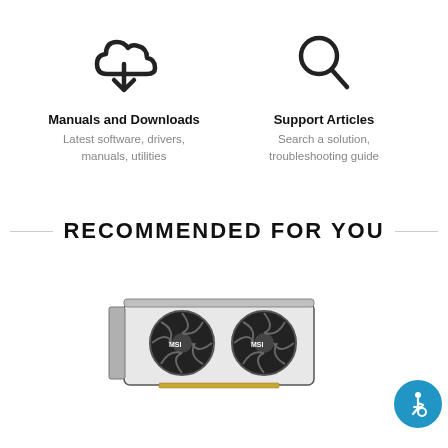[Figure (infographic): Cloud with download arrow icon representing Manuals and Downloads]
Manuals and Downloads
Latest software, drivers, manuals, utilities
[Figure (infographic): Magnifying glass icon representing Support Articles]
Support Articles
Search a solution, troubleshooting guide
RECOMMENDED FOR YOU
[Figure (photo): MSI dual-fan graphics card product photo]
[Figure (infographic): Accessibility wheelchair icon badge in blue circle]